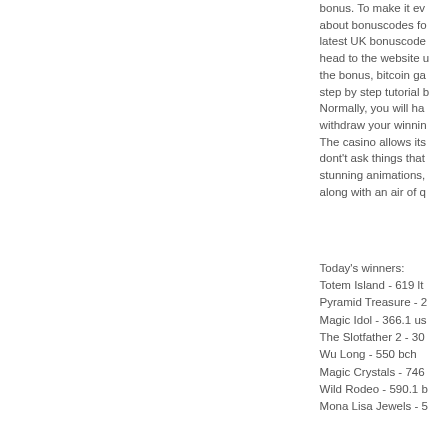bonus. To make it ev about bonuscodes fo latest UK bonuscode head to the website u the bonus, bitcoin ga step by step tutorial b Normally, you will ha withdraw your winnin The casino allows its dont't ask things that stunning animations, along with an air of q
Today's winners: Totem Island - 619 lt Pyramid Treasure - 2 Magic Idol - 366.1 us The Slotfather 2 - 30 Wu Long - 550 bch Magic Crystals - 746 Wild Rodeo - 590.1 b Mona Lisa Jewels - 5